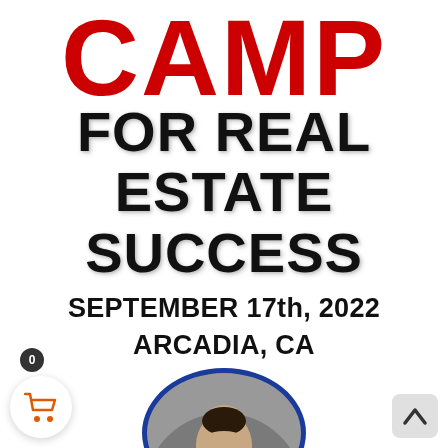CAMP
FOR REAL ESTATE SUCCESS
SEPTEMBER 17th, 2022
ARCADIA, CA
[Figure (photo): Circular headshot photo of a man, with blue circular border, partially visible at bottom of page]
[Figure (infographic): Shopping cart icon button with badge showing 0, and an upward arrow navigation button]